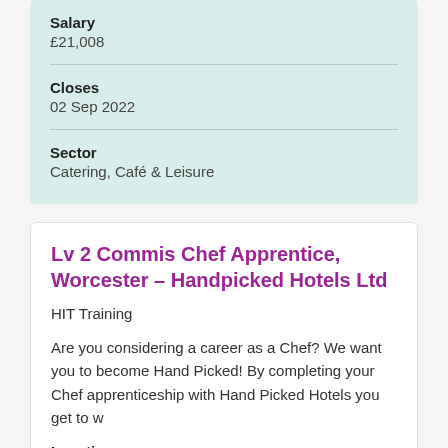Salary
£21,008
Closes
02 Sep 2022
Sector
Catering, Café & Leisure
Lv 2 Commis Chef Apprentice, Worcester - Handpicked Hotels Ltd
HIT Training
Are you considering a career as a Chef? We want you to become Hand Picked! By completing your Chef apprenticeship with Hand Picked Hotels you get to w
Location